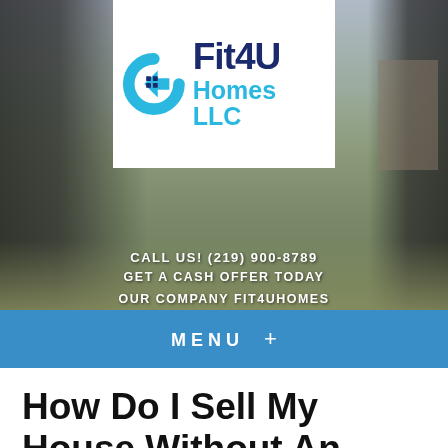[Figure (logo): Fit4U Homes LLC logo with cyan house icon and dark blue / cyan text on white background, overlaid on outdoor background photo]
CALL US! (219) 900-8789
GET A CASH OFFER TODAY
OUR COMPANY FIT4UHOMES
MENU  +
How Do I Sell My House Without An Agent in Gary, Griffith, Lake